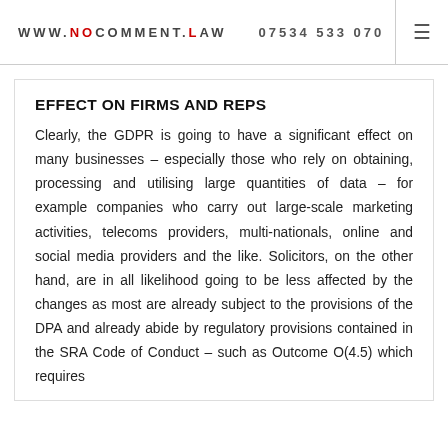WWW.NOCOMMENT.LAW   07534 533 070
EFFECT ON FIRMS AND REPS
Clearly, the GDPR is going to have a significant effect on many businesses – especially those who rely on obtaining, processing and utilising large quantities of data – for example companies who carry out large-scale marketing activities, telecoms providers, multi-nationals, online and social media providers and the like. Solicitors, on the other hand, are in all likelihood going to be less affected by the changes as most are already subject to the provisions of the DPA and already abide by regulatory provisions contained in the SRA Code of Conduct – such as Outcome O(4.5) which requires